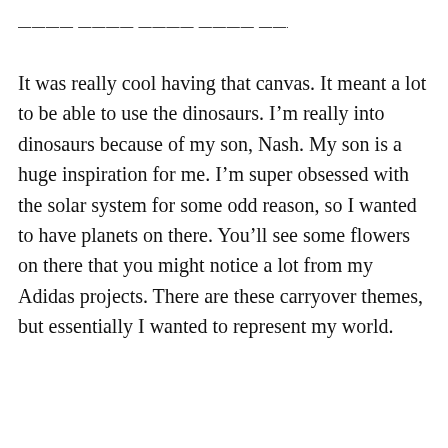— — — — — — — — — — — — — — — — — — — —
It was really cool having that canvas. It meant a lot to be able to use the dinosaurs. I’m really into dinosaurs because of my son, Nash. My son is a huge inspiration for me. I’m super obsessed with the solar system for some odd reason, so I wanted to have planets on there. You’ll see some flowers on there that you might notice a lot from my Adidas projects. There are these carryover themes, but essentially I wanted to represent my world.